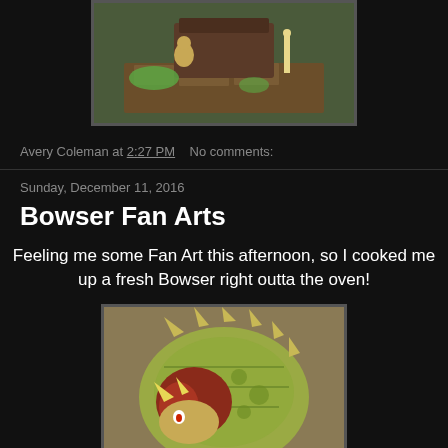[Figure (illustration): Isometric fantasy dungeon scene with green slime and candles on dark background]
Avery Coleman at 2:27 PM   No comments:
Sunday, December 11, 2016
Bowser Fan Arts
Feeling me some Fan Art this afternoon, so I cooked me up a fresh Bowser right outta the oven!
[Figure (illustration): Fan art illustration of Bowser character with spiky shell, reddish mane, on a tan/brown background]